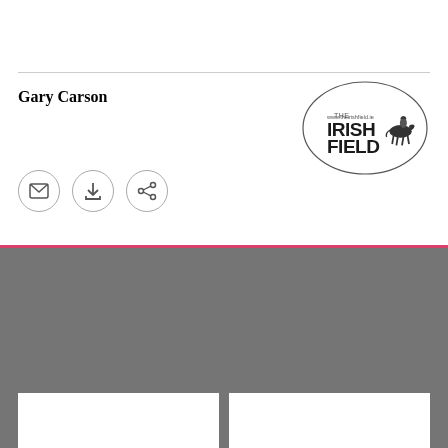Gary Carson
[Figure (logo): The Irish Field logo inside an oval border, showing a jockey on horseback and the text 'THE IRISH FIELD' with website url]
[Figure (infographic): Three circular icon buttons: envelope/email icon, download icon, and share/forward arrow icon]
[Figure (photo): Dark grey background section with a progress/loading bar and two white card placeholders at the bottom]